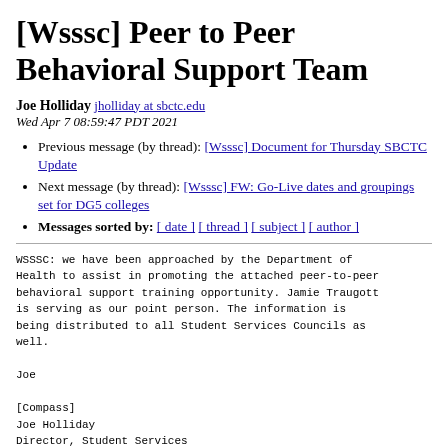[Wsssc] Peer to Peer Behavioral Support Team
Joe Holliday jholliday at sbctc.edu
Wed Apr 7 08:59:47 PDT 2021
Previous message (by thread): [Wsssc] Document for Thursday SBCTC Update
Next message (by thread): [Wsssc] FW: Go-Live dates and groupings set for DG5 colleges
Messages sorted by: [ date ] [ thread ] [ subject ] [ author ]
WSSSC: we have been approached by the Department of Health to assist in promoting the attached peer-to-peer behavioral support training opportunity. Jamie Traugott is serving as our point person. The information is being distributed to all Student Services Councils as well.

Joe

[Compass]
Joe Holliday
Director, Student Services